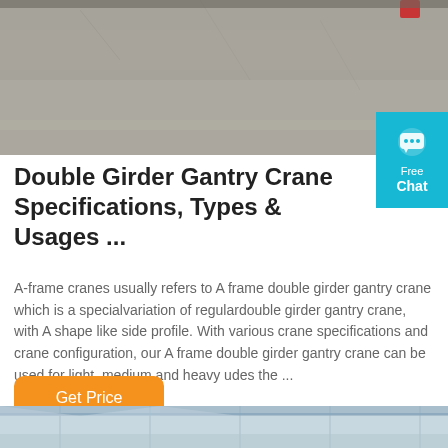[Figure (photo): Top portion of a crane or industrial equipment photo, showing a grey concrete-like surface with a small red element visible at the top right.]
Double Girder Gantry Crane Specifications, Types & Usages ...
A-frame cranes usually refers to A frame double girder gantry crane which is a specialvariation of regulardouble girder gantry crane, with A shape like side profile. With various crane specifications and crane configuration, our A frame double girder gantry crane can be used for light, medium and heavy udes the ...
[Figure (photo): Bottom strip of a photo showing what appears to be an indoor industrial crane facility with a blue-tinted ceiling/roof structure.]